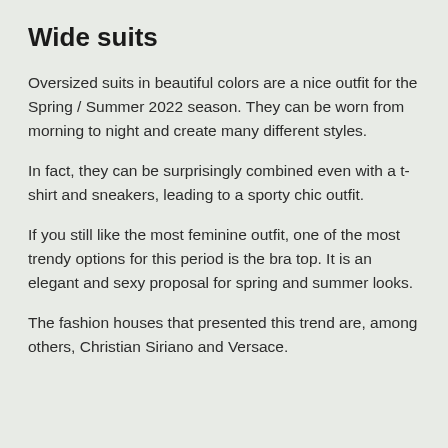Wide suits
Oversized suits in beautiful colors are a nice outfit for the Spring / Summer 2022 season. They can be worn from morning to night and create many different styles.
In fact, they can be surprisingly combined even with a t-shirt and sneakers, leading to a sporty chic outfit.
If you still like the most feminine outfit, one of the most trendy options for this period is the bra top. It is an elegant and sexy proposal for spring and summer looks.
The fashion houses that presented this trend are, among others, Christian Siriano and Versace.